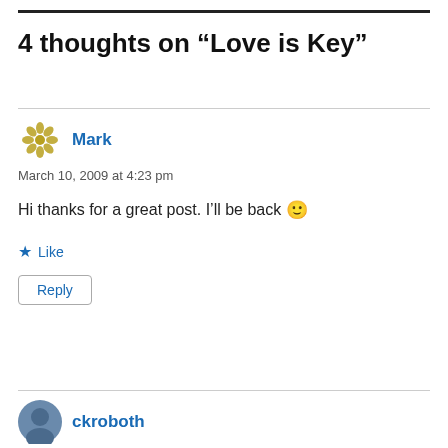4 thoughts on “Love is Key”
Mark
March 10, 2009 at 4:23 pm
Hi thanks for a great post. I’ll be back 🙂
Like
Reply
ckroboth
March 12, 2009 at 5:12 pm